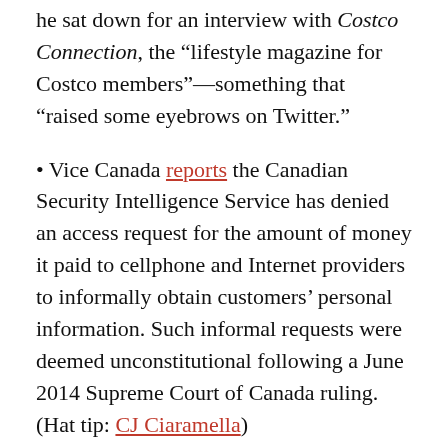he sat down for an interview with Costco Connection, the “lifestyle magazine for Costco members”—something that “raised some eyebrows on Twitter.”
• Vice Canada reports the Canadian Security Intelligence Service has denied an access request for the amount of money it paid to cellphone and Internet providers to informally obtain customers’ personal information. Such informal requests were deemed unconstitutional following a June 2014 Supreme Court of Canada ruling. (Hat tip: CJ Ciaramella)
• The Canadian Press’s Steve Rennie tweets that a recent access-to-information request yielded 15 pages from the Privy Council Office. But the only page that wasn’t exempted was the one with the Government of